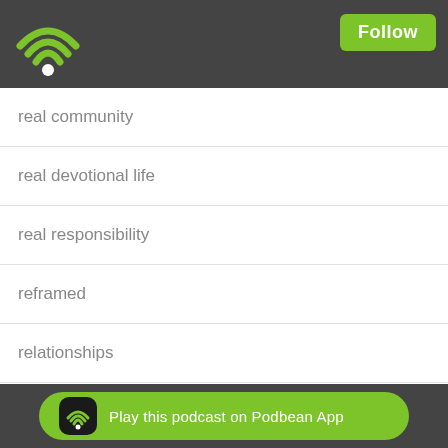[Figure (logo): Podbean wifi/podcast logo in green on dark grey header bar]
Follow
real community
real devotional life
real responsibility
reframed
relationships
reliability of scripture
repentance
rest
resurrection
revealing ultimate reality
revelation
rigo herrera
romans
Play this podcast on Podbean App